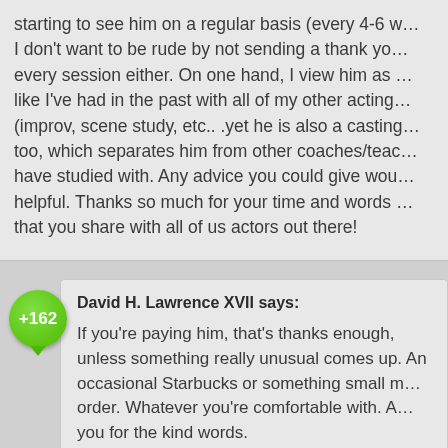starting to see him on a regular basis (every 4-6 weeks). I don't want to be rude by not sending a thank you after every session either. On one hand, I view him as a coach like I've had in the past with all of my other acting classes (improv, scene study, etc.. .yet he is also a casting director too, which separates him from other coaches/teachers I have studied with. Any advice you could give would be helpful. Thanks so much for your time and words of wisdom that you share with all of us actors out there!
David H. Lawrence XVII says:
If you're paying him, that's thanks enough, unless something really unusual comes up. An occasional Starbucks or something small might be in order. Whatever you're comfortable with. And thank you for the kind words.